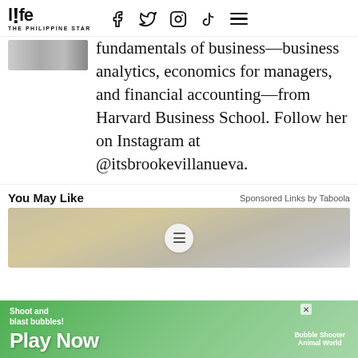life THE PHILIPPINE STAR
fundamentals of business—business analytics, economics for managers, and financial accounting—from Harvard Business School. Follow her on Instagram at @itsbrookevillanueva.
You May Like
Sponsored Links by Taboola
[Figure (photo): Recommended article thumbnail image]
[Figure (photo): Advertisement banner: Shoot and blast bubbles! Play Now - Bubble Shooter Animal World]